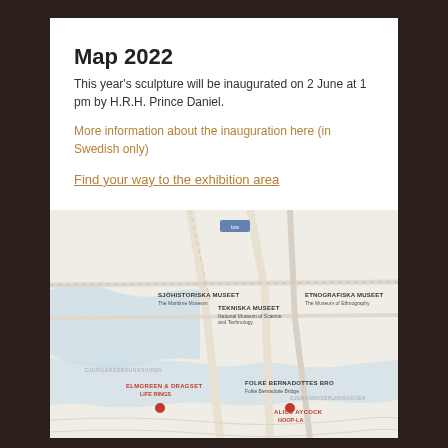Map 2022
This year's sculpture will be inaugurated on 2 June at 1 pm by H.R.H. Prince Daniel.
More information about the inauguration here (in Swedish only)
Find your way to the exhibition area
[Figure (map): Map showing museum area with SJÖHISTORISKA MUSEET (The Maritime Museum), TEKNISKA MUSEET (National Museum of Science and Technology), ETNOGRAFISKA MUSEET (The Museum of Ethnography), FOLKE BERNADOTTES BRO (Folke Bernadotte Bridge), and sculpture locations: ELMGREEN & DRAGSET - LIFE RINGS, and ALICE AYCOCK - HOOP-LA]